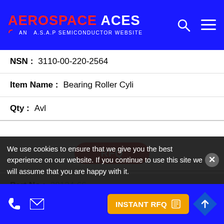[Figure (logo): Aerospace Aces logo - AN A.S.A.P Semiconductor Website header with blue background, red search and menu icons]
| NSN: | 3110-00-220-2564 |
| Item Name: | Bearing Roller Cyli |
| Qty: | Avl |
RFQ
| Part No: | 28124-66 |
| NSN: | 3110-00-435-0388 |
| Item Name: | Bearing Ball Annula |
| Qty: | Avl |
We use cookies to ensure that we give you the best experience on our website. If you continue to use this site we will assume that you are happy with it.
INSTANT RFQ